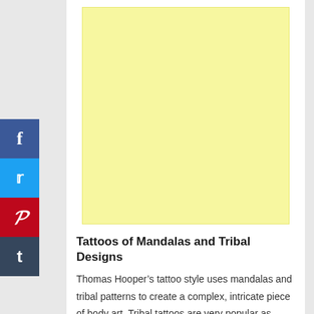[Figure (other): Yellow advertisement placeholder box]
Tattoos of Mandalas and Tribal Designs
Thomas Hooper’s tattoo style uses mandalas and tribal patterns to create a complex, intricate piece of body art. Tribal tattoos are very popular as tattoo designs for men, which means that most of Hooper’s clients have been male. Hooper’s tribal designs are similar to Maori and Samoan tattoos found in the South Pacific island region, in that